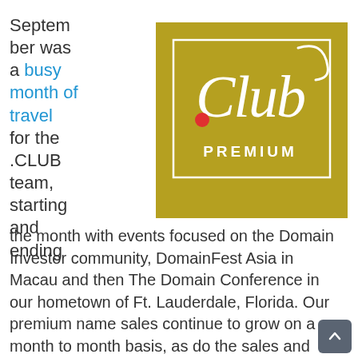September was a busy month of travel for the .CLUB team, starting and ending
[Figure (logo): .Club Premium logo — gold/olive square background with white cursive 'Club' text, a red dot, a white inner square border, and 'PREMIUM' in white capital letters below]
the month with events focused on the Domain Investor community, DomainFest Asia in Macau and then The Domain Conference in our hometown of Ft. Lauderdale, Florida.  Our premium name sales continue to grow on a month to month basis, as do the sales and auctions of our deleted dropping names on the SnapNames platform. September marks the first full month that .CLUB names